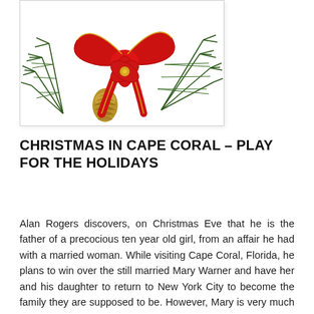[Figure (photo): A Christmas decoration featuring a large red ribbon bow with gold trim, pine branches, a pine cone, and a red poinsettia flower arrangement on a white background, displayed in a bordered box.]
CHRISTMAS IN CAPE CORAL – PLAY FOR THE HOLIDAYS
Alan Rogers discovers, on Christmas Eve that he is the father of a precocious ten year old girl, from an affair he had with a married woman. While visiting Cape Coral, Florida, he plans to win over the still married Mary Warner and have her and his daughter to return to New York City to become the family they are supposed to be. However, Mary is very much married to her husband, John who has raised her daughter, Tina as part of his family despite knowing Tina is another